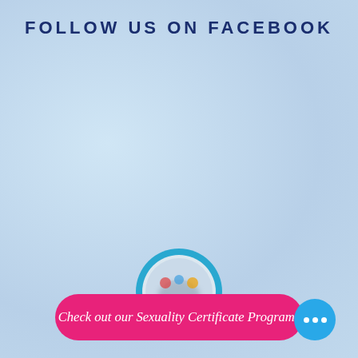FOLLOW US ON FACEBOOK
[Figure (logo): Circular logo with blue border and blurred interior graphic]
Check out our Sexuality Certificate Programs